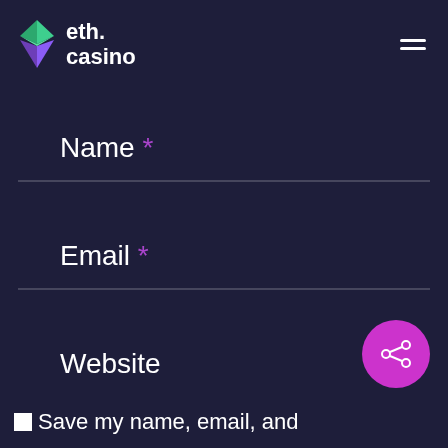eth.casino
Name *
Email *
Website
Save my name, email, and